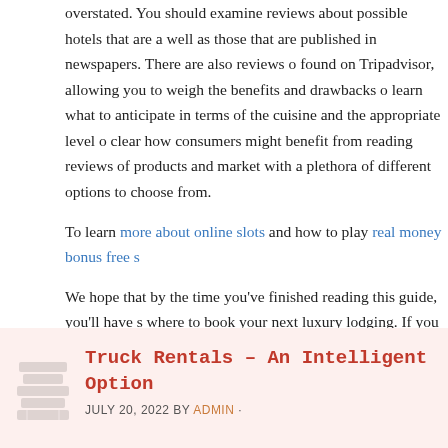overstated. You should examine reviews about possible hotels that are as well as those that are published in newspapers. There are also reviews found on Tripadvisor, allowing you to weigh the benefits and drawbacks learn what to anticipate in terms of the cuisine and the appropriate level clear how consumers might benefit from reading reviews of products and market with a plethora of different options to choose from.
To learn more about online slots and how to play real money bonus free s
We hope that by the time you've finished reading this guide, you'll have s where to book your next luxury lodging. If you take this guidance into con significantly increase your chances of making the choice that is most suit are unique to you.
FILED UNDER: CASINO ·
Truck Rentals – An Intelligent Option
JULY 20, 2022 BY ADMIN ·